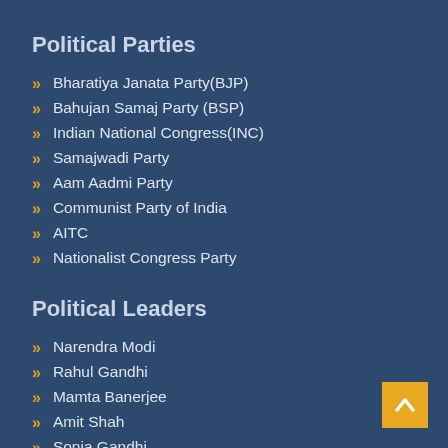Political Parties
Bharatiya Janata Party(BJP)
Bahujan Samaj Party (BSP)
Indian National Congress(INC)
Samajwadi Party
Aam Aadmi Party
Communist Party of India
AITC
Nationalist Congress Party
Political Leaders
Narendra Modi
Rahul Gandhi
Mamta Banerjee
Amit Shah
Sonia Gandhi
Arvind Kejrival